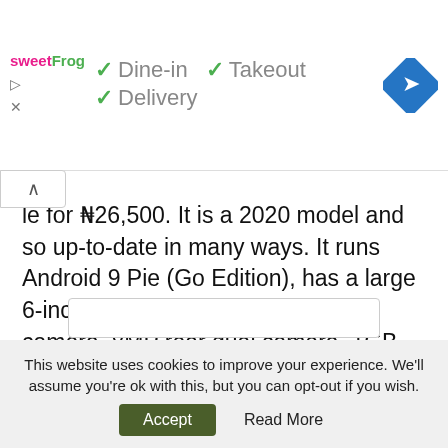[Figure (screenshot): Ad banner showing sweetFrog logo, checkmarks for Dine-in, Takeout, Delivery options, and a blue navigation arrow icon]
le for N26,500. It is a 2020 model and so up-to-date in many ways. It runs Android 9 Pie (Go Edition), has a large 6-inch LCD display, a 5MP selfie camera, 8MP rear dual camera, 1GB RAM, 16GB ROM, and a 4000mAh battery.
But there is a big comma: this is a 3G phone. If you want to be able to use 4G LTE Internet, this is not the smartphone for you. There is a 4G variant that costs just under ₦35,000. Totally out of range.
This website uses cookies to improve your experience. We'll assume you're ok with this, but you can opt-out if you wish.